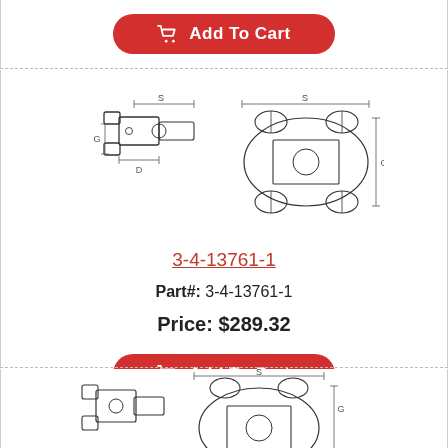[Figure (schematic): Add To Cart button at top of page (partial, cropped)]
[Figure (engineering-diagram): Technical line drawing of a universal joint yoke component shown from two angles (side view and front view) with dimension reference lines labeled S, G, D]
3-4-13761-1
Part#: 3-4-13761-1
Price: $289.32
[Figure (schematic): Add To Cart button]
[Figure (engineering-diagram): Technical line drawing of another universal joint yoke component shown from two angles (partial, cropped at bottom)]